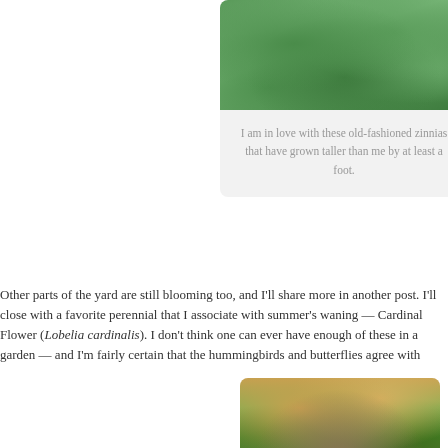[Figure (photo): Photo of tall old-fashioned zinnia plants with dense green foliage]
I am in love with these old-fashioned zinnias that have grown taller than me by at least a foot.
Other parts of the yard are still blooming too, and I'll share more in another pos... I'll close with a favorite perennial that I associate with summer's waning — Ca... Flower (Lobelia cardinalis). I don't think one can ever have enough of these in... garden — and I'm fairly certain that the hummingbirds and butterflies agree wi...
[Figure (photo): Photo of Lobelia cardinalis (Cardinal Flower) plant with red buds and green foliage]